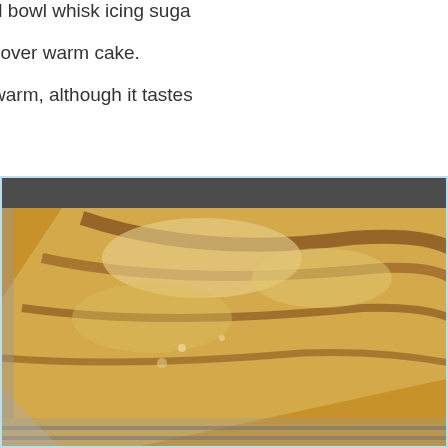7. In small bowl whisk icing suga…
8. Drizzle over warm cake.
9. Serve warm, although it tastes…
[Figure (photo): A baked cinnamon swirl cake in a metal sheet pan, photographed from above at an angle, showing golden-brown top with cinnamon swirl pattern, resting on a wire cooling rack.]